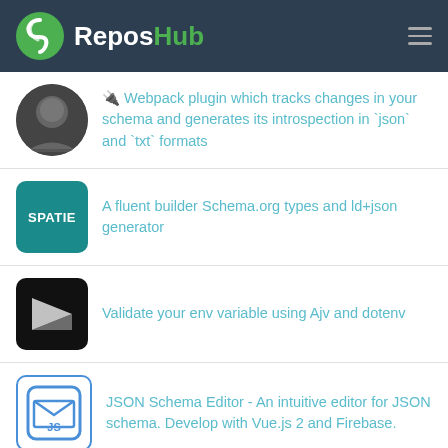ReposHub
🔌 Webpack plugin which tracks changes in your schema and generates its introspection in `json` and `txt` formats
A fluent builder Schema.org types and ld+json generator
Validate your env variable using Ajv and dotenv
JSON Schema Editor - An intuitive editor for JSON schema. Develop with Vue.js 2 and Firebase.
MongoDB Messaging Library